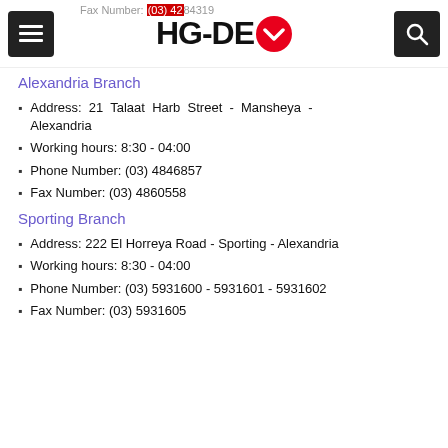Fax Number: (03) 4284319 | HG-DE [logo] | [menu] [search]
Alexandria Branch
Address: 21 Talaat Harb Street - Mansheya - Alexandria
Working hours: 8:30 - 04:00
Phone Number: (03) 4846857
Fax Number: (03) 4860558
Sporting Branch
Address: 222 El Horreya Road - Sporting - Alexandria
Working hours: 8:30 - 04:00
Phone Number: (03) 5931600 - 5931601 - 5931602
Fax Number: (03) 5931605